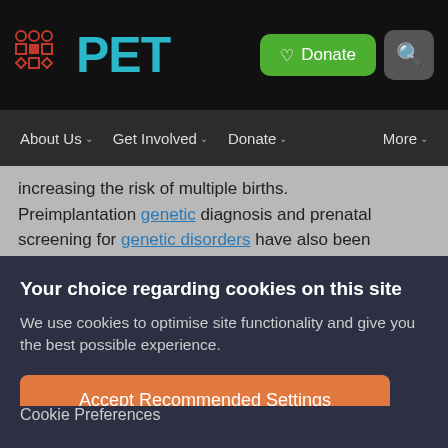PET — header with Donate and Search buttons
About Us  Get Involved  Donate  More
increasing the risk of multiple births. Preimplantation genetic diagnosis and prenatal screening for genetic disorders have also been banned. Fertility clinics across Europe have reportedly seen an
Your choice regarding cookies on this site
We use cookies to optimise site functionality and give you the best possible experience.
Accept Recommended Settings
Cookie Preferences